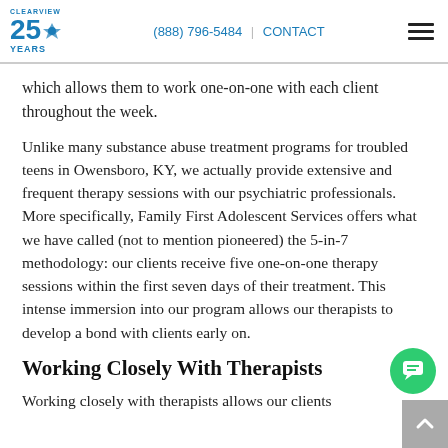CLEARVIEW 25 YEARS | (888) 796-5484 | CONTACT
which allows them to work one-on-one with each client throughout the week.
Unlike many substance abuse treatment programs for troubled teens in Owensboro, KY, we actually provide extensive and frequent therapy sessions with our psychiatric professionals. More specifically, Family First Adolescent Services offers what we have called (not to mention pioneered) the 5-in-7 methodology: our clients receive five one-on-one therapy sessions within the first seven days of their treatment. This intense immersion into our program allows our therapists to develop a bond with clients early on.
Working Closely With Therapists
Working closely with therapists allows our clients...